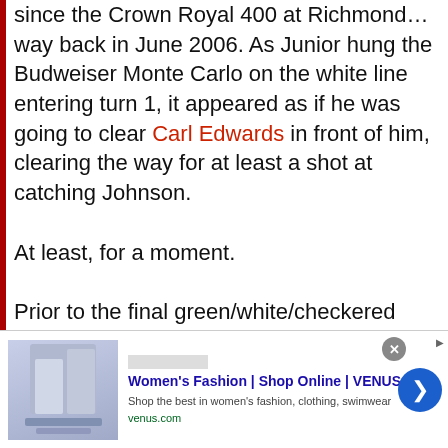since the Crown Royal 400 at Richmond... way back in June 2006. As Junior hung the Budweiser Monte Carlo on the white line entering turn 1, it appeared as if he was going to clear Carl Edwards in front of him, clearing the way for at least a shot at catching Johnson.

At least, for a moment.

Prior to the final green/white/checkered finish, Junior had radioed his crew that something didn't feel right in the back of his car. On lap 324, he asked his spotter to have Reed Sorenson check it out to see if
[Figure (other): Advertisement banner for Women's Fashion at VENUS (venus.com) with shop image and arrow button]